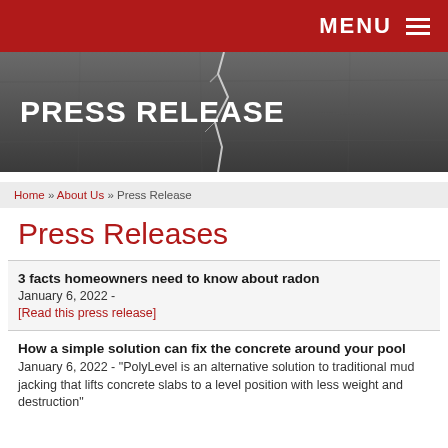MENU
[Figure (photo): Dark cracked concrete background with white text PRESS RELEASE]
PRESS RELEASE
Home » About Us » Press Release
Press Releases
3 facts homeowners need to know about radon
January 6, 2022 -
[Read this press release]
How a simple solution can fix the concrete around your pool
January 6, 2022 - "PolyLevel is an alternative solution to traditional mud jacking that lifts concrete slabs to a level position with less weight and destruction"